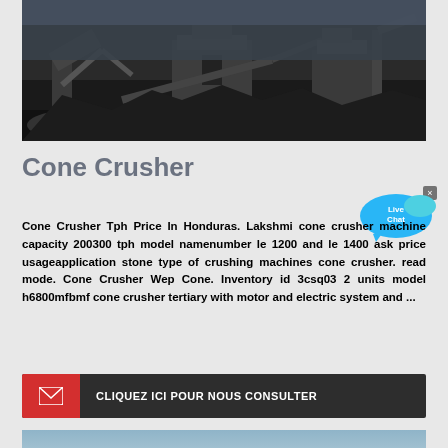[Figure (photo): Industrial mining/crushing site with heavy machinery, excavators, and rock crushing equipment in a dark, dusty quarry setting]
Cone Crusher
Cone Crusher Tph Price In Honduras. Lakshmi cone crusher machine capacity 200300 tph model namenumber le 1200 and le 1400 ask price usageapplication stone type of crushing machines cone crusher. read mode. Cone Crusher Wep Cone. Inventory id 3csq03 2 units model h6800mfbmf cone crusher tertiary with motor and electric system and ...
[Figure (other): Live Chat speech bubble widget with cyan/blue color]
CLIQUEZ ICI POUR NOUS CONSULTER
[Figure (photo): Partial view of a blue/gray industrial equipment image at the bottom of the page]